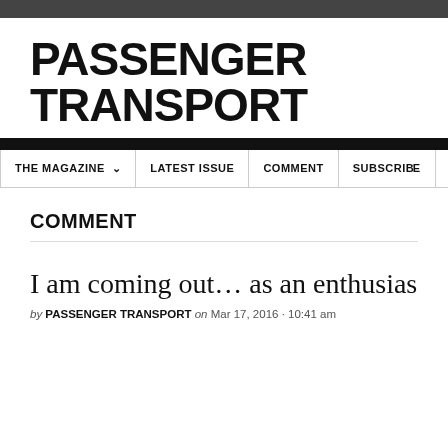PASSENGER TRANSPORT
THE MAGAZINE  LATEST ISSUE  COMMENT  SUBSCRIBE
COMMENT
I am coming out… as an enthusias
by PASSENGER TRANSPORT on Mar 17, 2016 · 10:41 am